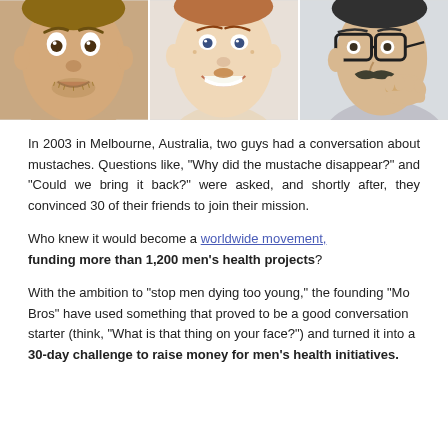[Figure (photo): Three close-up photos of men's faces showing different mustache styles, arranged side by side in a strip.]
In 2003 in Melbourne, Australia, two guys had a conversation about mustaches. Questions like, “Why did the mustache disappear?” and “Could we bring it back?” were asked, and shortly after, they convinced 30 of their friends to join their mission.
Who knew it would become a worldwide movement, funding more than 1,200 men’s health projects?
With the ambition to “stop men dying too young,” the founding “Mo Bros” have used something that proved to be a good conversation starter (think, “What is that thing on your face?”) and turned it into a 30-day challenge to raise money for men’s health initiatives.